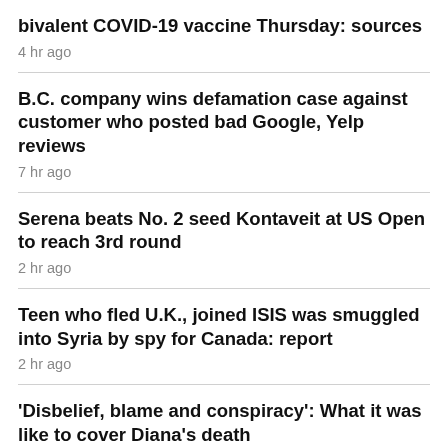bivalent COVID-19 vaccine Thursday: sources
4 hr ago
B.C. company wins defamation case against customer who posted bad Google, Yelp reviews
7 hr ago
Serena beats No. 2 seed Kontaveit at US Open to reach 3rd round
2 hr ago
Teen who fled U.K., joined ISIS was smuggled into Syria by spy for Canada: report
2 hr ago
'Disbelief, blame and conspiracy': What it was like to cover Diana's death